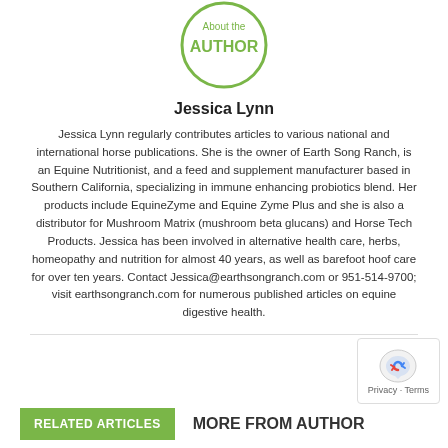[Figure (logo): Circular green-bordered badge with text 'About the AUTHOR' in green]
Jessica Lynn
Jessica Lynn regularly contributes articles to various national and international horse publications. She is the owner of Earth Song Ranch, is an Equine Nutritionist, and a feed and supplement manufacturer based in Southern California, specializing in immune enhancing probiotics blend. Her products include EquineZyme and Equine Zyme Plus and she is also a distributor for Mushroom Matrix (mushroom beta glucans) and Horse Tech Products. Jessica has been involved in alternative health care, herbs, homeopathy and nutrition for almost 40 years, as well as barefoot hoof care for over ten years. Contact Jessica@earthsongranch.com or 951-514-9700; visit earthsongranch.com for numerous published articles on equine digestive health.
RELATED ARTICLES
MORE FROM AUTHOR